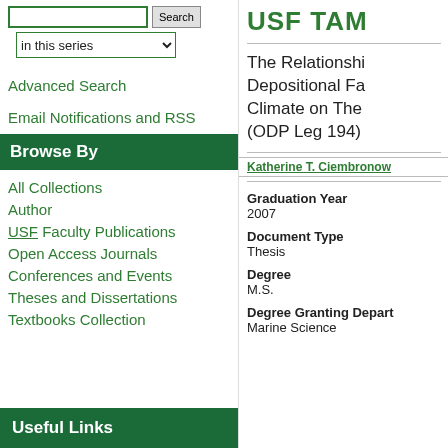USF TAM
in this series
Advanced Search
Email Notifications and RSS
Browse By
All Collections
Author
USF Faculty Publications
Open Access Journals
Conferences and Events
Theses and Dissertations
Textbooks Collection
Useful Links
The Relationship Between Depositional Facies and Climate on The (ODP Leg 194)
Katherine T. Ciembronow
Graduation Year
2007
Document Type
Thesis
Degree
M.S.
Degree Granting Department
Marine Science